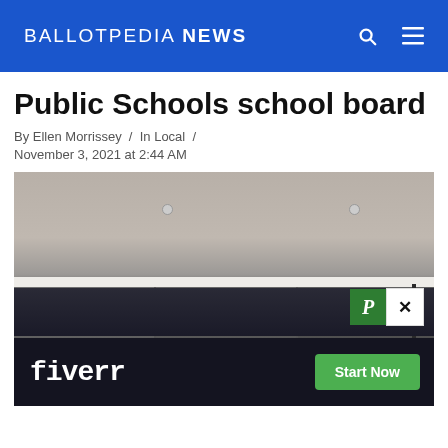BALLOTPEDIA NEWS
Public Schools school board
By Ellen Morrissey / In Local /
November 3, 2021 at 2:44 AM
[Figure (photo): Interior room photo showing ceiling with recessed lights, white horizontal shelf bar, gray closet panels, and coat rack on right side. An advertisement overlay for Fiverr with 'Start Now' button and a P×close icon appear at the bottom.]